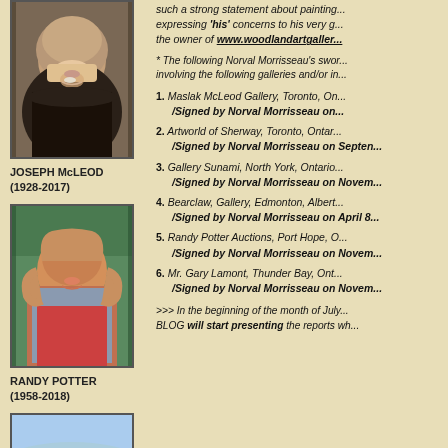such a strong statement about painting... expressing 'his' concerns to his very g... the owner of www.woodlandartgaller...
* The following Norval Morrisseau's swor... involving the following galleries and/or in...
[Figure (photo): Elderly man with white beard, Joseph McLeod (1928-2017)]
JOSEPH McLEOD
(1928-2017)
1. Maslak McLeod Gallery, Toronto, On... /Signed by Norval Morrisseau on...
2. Artworld of Sherway, Toronto, Ontar... /Signed by Norval Morrisseau on Septen...
[Figure (photo): Middle-aged man with long hair, Randy Potter (1958-2018)]
RANDY POTTER
(1958-2018)
3. Gallery Sunami, North York, Ontario... /Signed by Norval Morrisseau on Novem...
4. Bearclaw, Gallery, Edmonton, Albert... /Signed by Norval Morrisseau on April 8...
5. Randy Potter Auctions, Port Hope, O... /Signed by Norval Morrisseau on Novem...
6. Mr. Gary Lamont, Thunder Bay, Ont... /Signed by Norval Morrisseau on Novem...
[Figure (photo): Small landscape photo at bottom left]
>>> In the beginning of the month of July... BLOG will start presenting the reports wh...